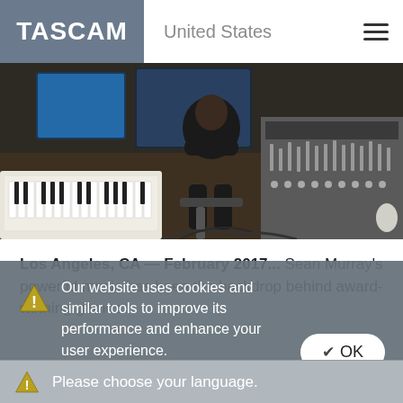TASCAM | United States
[Figure (photo): Person sitting in a professional recording studio with mixing board, keyboards, and multiple computer screens]
Los Angeles, CA — February 2017... Sean Murray's powerful music has been the backdrop behind award-winning games
Our website uses cookies and similar tools to improve its performance and enhance your user experience.
Your consent to use is required in case you continue to use this site.
For more information click here.
✔ OK
Please choose your language.